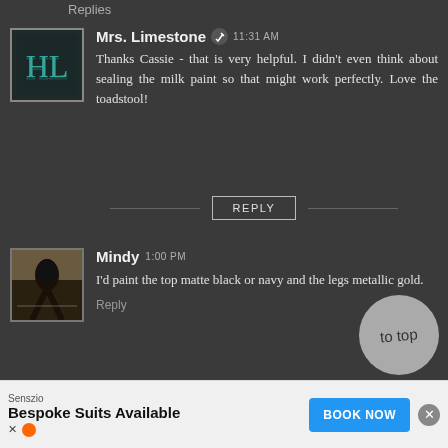Replies
[Figure (illustration): Avatar image with ornate HL monogram on dark background]
Mrs. Limestone ✎ 11:31 AM
Thanks Cassie - that is very helpful. I didn't even think about sealing the milk paint so that might work perfectly. Love the toadstool!
REPLY
[Figure (photo): Avatar photo of a silhouette of a person against a bright background]
Mindy 1:00 PM
I'd paint the top matte black or navy and the legs metallic gold.
Reply
[Figure (photo): Avatar photo of a woman with blonde hair]
jbr 2:06 PM
[Figure (illustration): Gray circle bubble with 'to top' text in cursive]
Senszio
Bespoke Suits Available
BOOK NOW